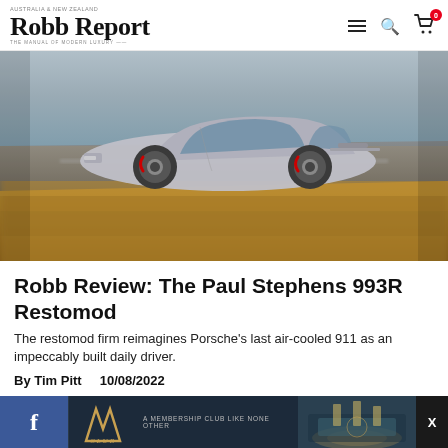Robb Report — THE MANUAL OF MODERN LUXURY — AUSTRALIA & NEW ZEALAND
[Figure (photo): Silver Porsche 993 restomod driving on a road with golden/tan dry grass blurred in the background, motion blur visible]
Robb Review: The Paul Stephens 993R Restomod
The restomod firm reimagines Porsche's last air-cooled 911 as an impeccably built daily driver.
By Tim Pitt   10/08/2022
[Figure (other): Advertisement bar at bottom: Facebook icon, M logo membership club, text 'A MEMBERSHIP CLUB LIKE NONE OTHER', image of interior space, X close button]